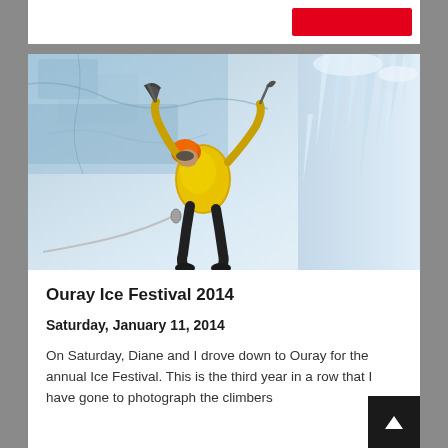[Figure (photo): Ice climber in yellow jacket and orange helmet scaling a frozen ice wall, holding ice axes, with rope visible. Large icicles hang from the wall on the right side.]
Ouray Ice Festival 2014
Saturday, January 11, 2014
On Saturday, Diane and I drove down to Ouray for the annual Ice Festival. This is the third year in a row that I have gone to photograph the climbers